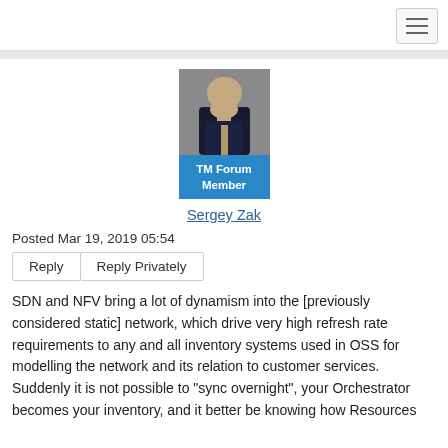[Figure (photo): Profile photo of Sergey Zak, a man in a dark suit with a tie, against a grey background]
TM Forum Member
Sergey Zak
Posted Mar 19, 2019 05:54
SDN and NFV bring a lot of dynamism into the [previously considered static] network, which drive very high refresh rate requirements to any and all inventory systems used in OSS for modelling the network and its relation to customer services. Suddenly it is not possible to "sync overnight", your Orchestrator becomes your inventory, and it better be knowing how Resources